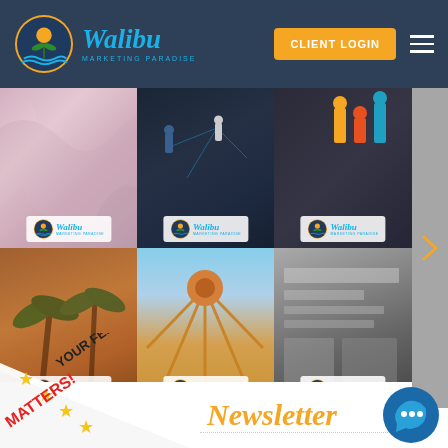[Figure (screenshot): Walibu Marketing Paradise website header with logo, CLIENT LOGIN button, and hamburger menu on dark blue background]
[Figure (photo): 6-cell image grid showing various marketing-related photos, each with a Walibu Marketing Paradise logo overlay]
[Figure (infographic): Diagonal yellow/red banner with stars reading YOUR FEEDBACK MATTERS! with star rating icons]
Newsletter
[Figure (logo): Chat/Perkuto icon in the bottom right corner]